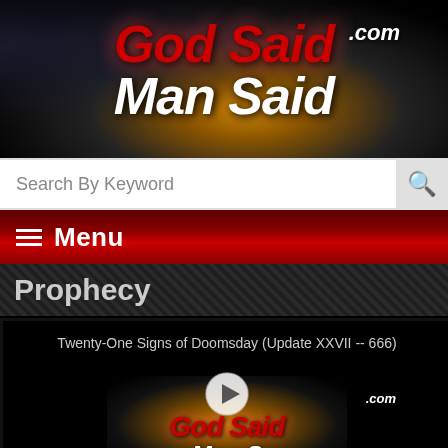[Figure (logo): GodSaidManSaid.com website header logo with red and white stylized text on dark background with golden glow]
Search By Keyword
≡ Menu
Prophecy
[Figure (screenshot): Video thumbnail for 'Twenty-One Signs of Doomsday (Update XXVII -- 666)' showing the GodSaidManSaid.com logo with a play button overlay]